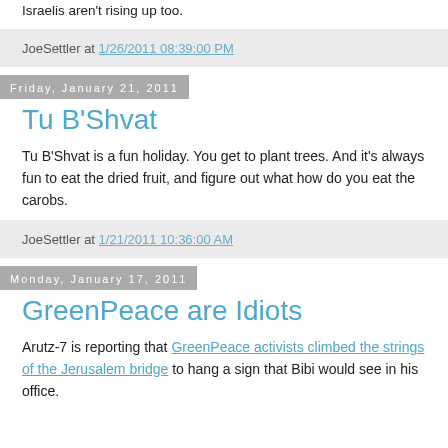Israelis aren't rising up too.
JoeSettler at 1/26/2011 08:39:00 PM
Friday, January 21, 2011
Tu B'Shvat
Tu B'Shvat is a fun holiday. You get to plant trees. And it's always fun to eat the dried fruit, and figure out what how do you eat the carobs.
JoeSettler at 1/21/2011 10:36:00 AM
Monday, January 17, 2011
GreenPeace are Idiots
Arutz-7 is reporting that GreenPeace activists climbed the strings of the Jerusalem bridge to hang a sign that Bibi would see in his office.